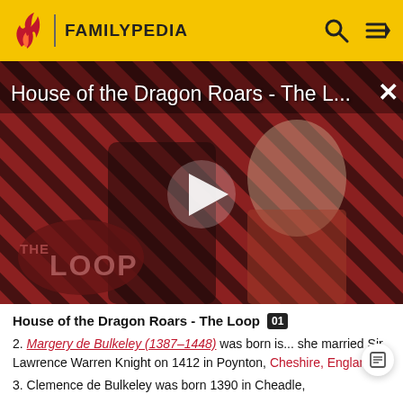FAMILYPEDIA
[Figure (screenshot): Video thumbnail showing 'House of the Dragon Roars - The L...' with a play button overlay, two characters, and 'THE LOOP' logo on a striped red/black background. A close (X) button is visible top right.]
House of the Dragon Roars - The Loop
2. Margery de Bulkeley (1387–1448) was born is... she married Sir Lawrence Warren Knight on 1412 in Poynton, Cheshire, England.
3. Clemence de Bulkeley was born 1390 in Cheadle,